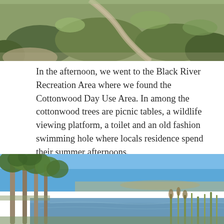[Figure (photo): Aerial or hillside view of a dry, scrubby landscape with gravel path and green shrubs under bright sky]
In the afternoon, we went to the Black River Recreation Area where we found the Cottonwood Day Use Area. In among the cottonwood trees are picnic tables, a wildlife viewing platform, a toilet and an old fashion swimming hole where locals residence spend their summer afternoons.
[Figure (photo): Riverside scene with tall cottonwood trees on the left, calm river in the foreground, blue sky above, and open plains in the background]